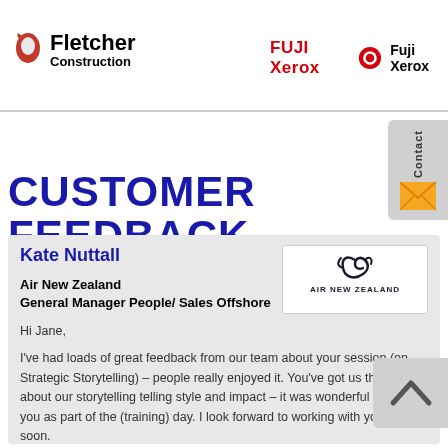Fletcher Construction | Fuji Xerox
CUSTOMER FEEDBACK
Kate Nuttall
Air New Zealand
General Manager People/ Sales Offshore
Hi Jane,

I've had loads of great feedback from our team about your session (on Strategic Storytelling) – people really enjoyed it. You've got us thinking about our storytelling telling style and impact – it was wonderful to have you as part of the (training) day. I look forward to working with you again soon.